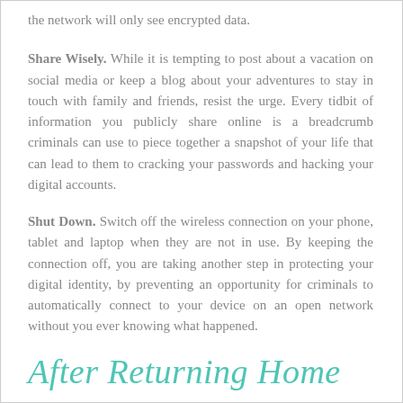the network will only see encrypted data.
Share Wisely. While it is tempting to post about a vacation on social media or keep a blog about your adventures to stay in touch with family and friends, resist the urge. Every tidbit of information you publicly share online is a breadcrumb criminals can use to piece together a snapshot of your life that can lead to them to cracking your passwords and hacking your digital accounts.
Shut Down. Switch off the wireless connection on your phone, tablet and laptop when they are not in use. By keeping the connection off, you are taking another step in protecting your digital identity, by preventing an opportunity for criminals to automatically connect to your device on an open network without you ever knowing what happened.
After Returning Home